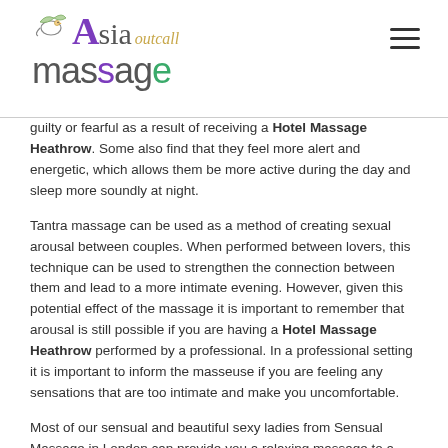Asia outcall massage
guilty or fearful as a result of receiving a Hotel Massage Heathrow. Some also find that they feel more alert and energetic, which allows them be more active during the day and sleep more soundly at night.
Tantra massage can be used as a method of creating sexual arousal between couples. When performed between lovers, this technique can be used to strengthen the connection between them and lead to a more intimate evening. However, given this potential effect of the massage it is important to remember that arousal is still possible if you are having a Hotel Massage Heathrow performed by a professional. In a professional setting it is important to inform the masseuse if you are feeling any sensations that are too intimate and make you uncomfortable.
Most of our sensual and beautiful sexy ladies from Sensual Massage in London can provide you a relaxing massage to a more sensual discrete yoni, lingam massage, nuru massage, erotic massage or prostate massage! We have no in-call facilities, which means that we can only provide outcall massage visits to either your private apartment or your hotel room. We assure you a memorable experience when you use our services and you will not be left